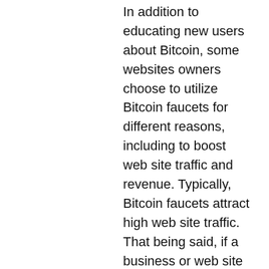In addition to educating new users about Bitcoin, some websites owners choose to utilize Bitcoin faucets for different reasons, including to boost web site traffic and revenue. Typically, Bitcoin faucets attract high web site traffic. That being said, if a business or web site has other services or content to advertise to Bitcoin users, a high traffic faucet is a good way to get the word out and get more people familiar with a company or a brand, google bitstarz. Depending on the content being promoted, a web site can also generate huge income, something that is difficult to achieve in the incredibly competitive niche. The minimum withdrawal is 50,000 satoshis, google bitstarz. If you are into crypto, then you must be aware of many ways to earn Bitcoins and Altcoins. While buying cryptocurrencies directly from an exchange or the seller through the Exchange is the best-known way